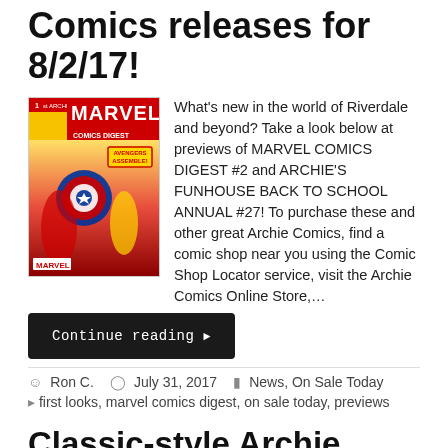Comics releases for 8/2/17!
[Figure (illustration): Marvel Comics Digest #2 comic book cover featuring Avengers characters on yellow/red background with MARVEL logo]
What's new in the world of Riverdale and beyond? Take a look below at previews of MARVEL COMICS DIGEST #2 and ARCHIE'S FUNHOUSE BACK TO SCHOOL ANNUAL #27! To purchase these and other great Archie Comics, find a comic shop near you using the Comic Shop Locator service, visit the Archie Comics Online Store,…
Continue reading ▶
Ron C.   July 31, 2017   News, On Sale Today
first looks, marvel comics digest, on sale today, previews
Classic-style Archie makes his return in